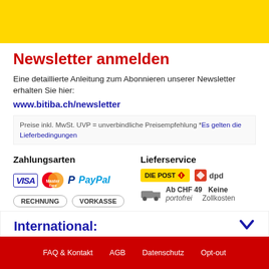[Figure (illustration): Yellow banner bar at the top of the page]
Newsletter anmelden
Eine detaillierte Anleitung zum Abonnieren unserer Newsletter erhalten Sie hier:
www.bitiba.ch/newsletter
Preise inkl. MwSt. UVP = unverbindliche Preisempfehlung *Es gelten die Lieferbedingungen
Zahlungsarten
[Figure (logo): VISA logo]
[Figure (logo): MasterCard logo]
[Figure (logo): PayPal logo]
RECHNUNG
VORKASSE
Lieferservice
[Figure (logo): Die Post logo]
[Figure (logo): DPD logo]
Ab CHF 49 portofrei   Keine Zollkosten
International:
FAQ & Kontakt   AGB   Datenschutz   Opt-out